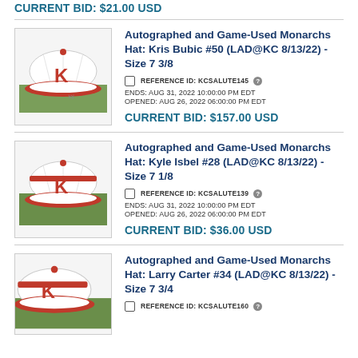CURRENT BID: $21.00 USD
[Figure (photo): Autographed Kansas City Monarchs baseball cap with red K logo on white cap with red brim]
Autographed and Game-Used Monarchs Hat: Kris Bubic #50 (LAD@KC 8/13/22) - Size 7 3/8
REFERENCE ID: KCSALUTE145
ENDS: AUG 31, 2022 10:00:00 PM EDT
OPENED: AUG 26, 2022 06:00:00 PM EDT
CURRENT BID: $157.00 USD
[Figure (photo): Autographed Kansas City Monarchs baseball cap with red K logo on white cap with red brim, on grass]
Autographed and Game-Used Monarchs Hat: Kyle Isbel #28 (LAD@KC 8/13/22) - Size 7 1/8
REFERENCE ID: KCSALUTE139
ENDS: AUG 31, 2022 10:00:00 PM EDT
OPENED: AUG 26, 2022 06:00:00 PM EDT
CURRENT BID: $36.00 USD
[Figure (photo): Autographed Kansas City Monarchs baseball cap with red K logo on white cap with red brim, partially visible]
Autographed and Game-Used Monarchs Hat: Larry Carter #34 (LAD@KC 8/13/22) - Size 7 3/4
REFERENCE ID: KCSALUTE160